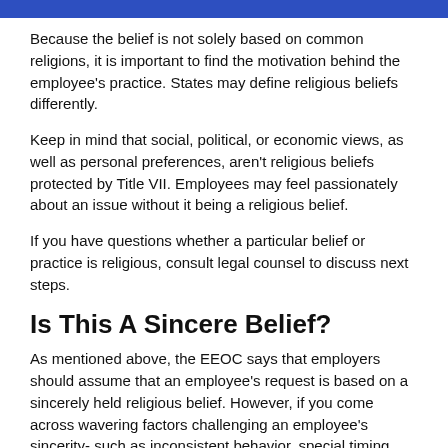Business Transformation Report
Because the belief is not solely based on common religions, it is important to find the motivation behind the employee's practice. States may define religious beliefs differently.
Keep in mind that social, political, or economic views, as well as personal preferences, aren't religious beliefs protected by Title VII. Employees may feel passionately about an issue without it being a religious belief.
If you have questions whether a particular belief or practice is religious, consult legal counsel to discuss next steps.
Is This A Sincere Belief?
As mentioned above, the EEOC says that employers should assume that an employee's request is based on a sincerely held religious belief. However, if you come across wavering factors challenging an employee's sincerity- such as inconsistent behavior, special timing, etc.- seek professional counsel to find out how to request more information.
You may want to follow up to determine whether there is an adequate explanation for the inconsistency, such as the